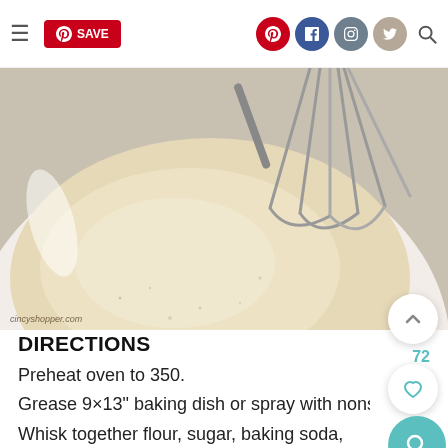≡  SAVE  [Pinterest] [Facebook] [Instagram] [Twitter] [Search]
[Figure (photo): A white bowl containing flour being whisked with a metal whisk, viewed from above. Watermark: cincyshopper.com]
DIRECTIONS
Preheat oven to 350.
Grease 9×13" baking dish or spray with nonstick s…
Whisk together flour, sugar, baking soda, baking powder and salt in mixer bowl.
Gradually add in butter while mixing. Mixture will be…